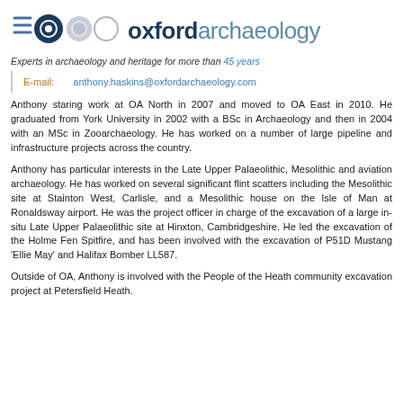[Figure (logo): Oxford Archaeology logo with circular icons and text]
Experts in archaeology and heritage for more than 45 years
E-mail: anthony.haskins@oxfordarchaeology.com
Anthony staring work at OA North in 2007 and moved to OA East in 2010. He graduated from York University in 2002 with a BSc in Archaeology and then in 2004 with an MSc in Zooarchaeology. He has worked on a number of large pipeline and infrastructure projects across the country.
Anthony has particular interests in the Late Upper Palaeolithic, Mesolithic and aviation archaeology. He has worked on several significant flint scatters including the Mesolithic site at Stainton West, Carlisle, and a Mesolithic house on the Isle of Man at Ronaldsway airport. He was the project officer in charge of the excavation of a large in-situ Late Upper Palaeolithic site at Hinxton, Cambridgeshire. He led the excavation of the Holme Fen Spitfire, and has been involved with the excavation of P51D Mustang 'Ellie May' and Halifax Bomber LL587.
Outside of OA, Anthony is involved with the People of the Heath community excavation project at Petersfield Heath.